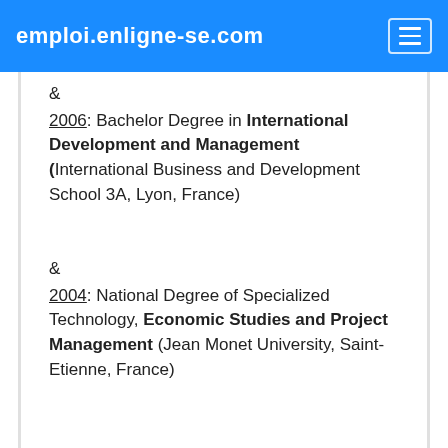emploi.enligne-se.com
& 2006: Bachelor Degree in International Development and Management (International Business and Development School 3A, Lyon, France)
& 2004: National Degree of Specialized Technology, Economic Studies and Project Management (Jean Monet University, Saint-Etienne, France)